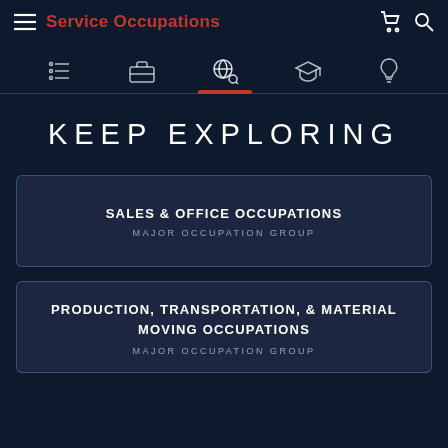Service Occupations
KEEP EXPLORING
SALES & OFFICE OCCUPATIONS
MAJOR OCCUPATION GROUP
PRODUCTION, TRANSPORTATION, & MATERIAL MOVING OCCUPATIONS
MAJOR OCCUPATION GROUP